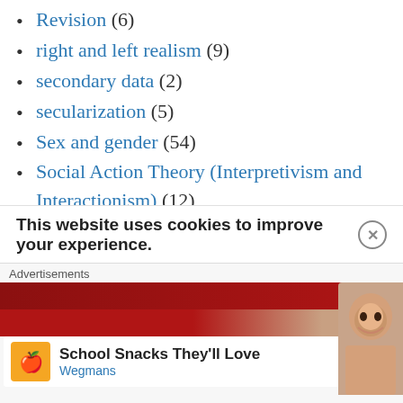Revision (6)
right and left realism (9)
secondary data (2)
secularization (5)
Sex and gender (54)
Social Action Theory (Interpretivism and Interactionism) (12)
social change (1)
Social class, wealth and income inequalities (42)
Social media (5)
social mobility (2)
This website uses cookies to improve your experience.
Advertisements
[Figure (screenshot): Advertisement banner for Wegmans: School Snacks They'll Love, with orange logo icon, blue navigation arrow, and a photo of a woman smiling.]